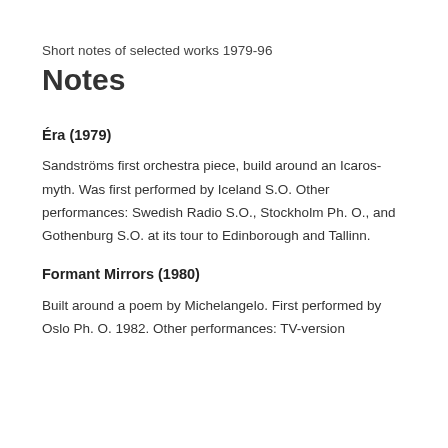Short notes of selected works 1979-96
Notes
Éra (1979)
Sandströms first orchestra piece, build around an Icaros-myth. Was first performed by Iceland S.O. Other performances: Swedish Radio S.O., Stockholm Ph. O., and Gothenburg S.O. at its tour to Edinborough and Tallinn.
Formant Mirrors (1980)
Built around a poem by Michelangelo. First performed by Oslo Ph. O. 1982. Other performances: TV-version